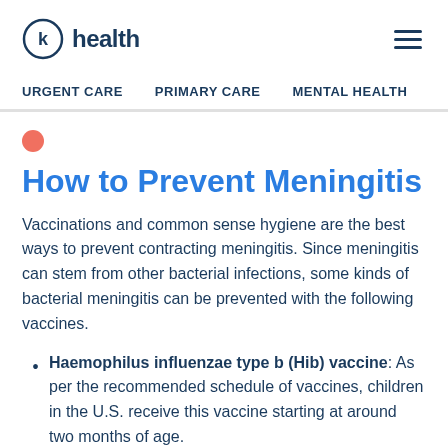K Health — URGENT CARE | PRIMARY CARE | MENTAL HEALTH
How to Prevent Meningitis
Vaccinations and common sense hygiene are the best ways to prevent contracting meningitis. Since meningitis can stem from other bacterial infections, some kinds of bacterial meningitis can be prevented with the following vaccines.
Haemophilus influenzae type b (Hib) vaccine: As per the recommended schedule of vaccines, children in the U.S. receive this vaccine starting at around two months of age.